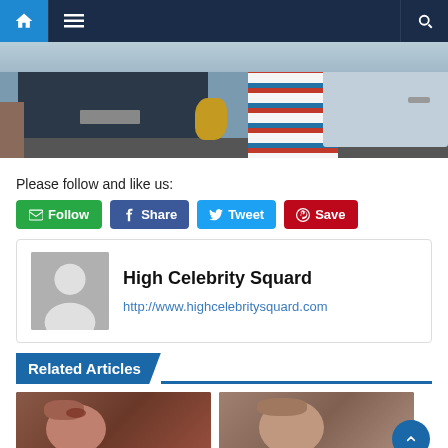Navigation bar with home, menu, and search icons
[Figure (photo): Partial view of a person in a striped outfit near dark and white cars in a parking area]
Please follow and like us:
[Figure (infographic): Social sharing buttons: Follow (green), Share (Facebook blue), Tweet (Twitter blue), Save (Pinterest red)]
High Celebrity Squard
http://www.highcelebritysquard.com
Related Articles
[Figure (photo): Two thumbnail images of people's faces side by side under Related Articles section]